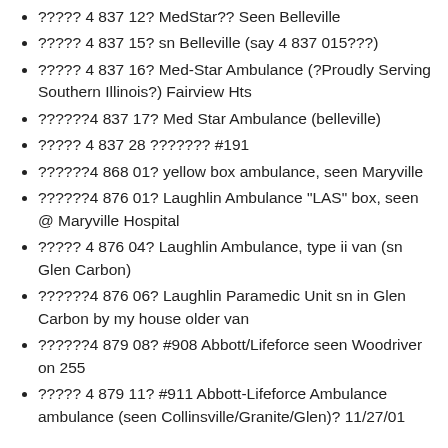????? 4 837 12? MedStar?? Seen Belleville
????? 4 837 15? sn Belleville (say 4 837 015???)
????? 4 837 16? Med-Star Ambulance (?Proudly Serving Southern Illinois?) Fairview Hts
??????4 837 17? Med Star Ambulance (belleville)
????? 4 837 28 ??????? #191
??????4 868 01? yellow box ambulance, seen Maryville
??????4 876 01? Laughlin Ambulance "LAS" box, seen @ Maryville Hospital
????? 4 876 04? Laughlin Ambulance, type ii van (sn Glen Carbon)
??????4 876 06? Laughlin Paramedic Unit sn in Glen Carbon by my house older van
??????4 879 08? #908 Abbott/Lifeforce seen Woodriver on 255
????? 4 879 11? #911 Abbott-Lifeforce Ambulance ambulance (seen Collinsville/Granite/Glen)? 11/27/01